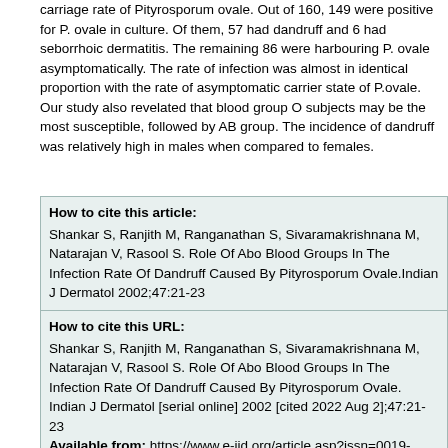carriage rate of Pityrosporum ovale. Out of 160, 149 were positive for P. ovale in culture. Of them, 57 had dandruff and 6 had seborrhoic dermatitis. The remaining 86 were harbouring P. ovale asymptomatically. The rate of infection was almost in identical proportion with the rate of asymptomatic carrier state of P.ovale. Our study also revelated that blood group O subjects may be the most susceptible, followed by AB group. The incidence of dandruff was relatively high in males when compared to females.
How to cite this article: Shankar S, Ranjith M, Ranganathan S, Sivaramakrishnana M, Natarajan V, Rasool S. Role Of Abo Blood Groups In The Infection Rate Of Dandruff Caused By Pityrosporum Ovale.Indian J Dermatol 2002;47:21-23
How to cite this URL: Shankar S, Ranjith M, Ranganathan S, Sivaramakrishnana M, Natarajan V, Rasool S. Role Of Abo Blood Groups In The Infection Rate Of Dandruff Caused By Pityrosporum Ovale. Indian J Dermatol [serial online] 2002 [cited 2022 Aug 2];47:21-23 Available from: https://www.e-ijd.org/article.asp?issn=0019-5154;year=2002;volume=47;issue=1;spage=21;epage=23;aulast=Shankar;type=